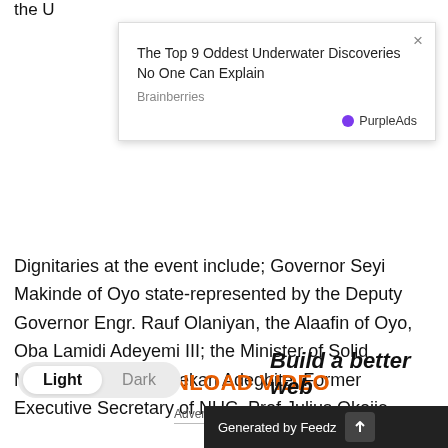the U
[Figure (screenshot): Ad popup showing 'The Top 9 Oddest Underwater Discoveries No One Can Explain' from Brainberries, with PurpleAds branding and a close (×) button]
Dignitaries at the event include; Governor Seyi Makinde of Oyo state-represented by the Deputy Governor Engr. Rauf Olaniyan, the Alaafin of Oyo, Oba Lamidi Adeyemi III; the Minister of Solid Minerals, Arc. Olamilekan Adegbite, Former Executive Secretary of NUC, Prof Julius Okojie
DOWNLOAD VIDEO
Advertisements
ATTIC
Light  Dark
Generated by Feedz
Build a better web